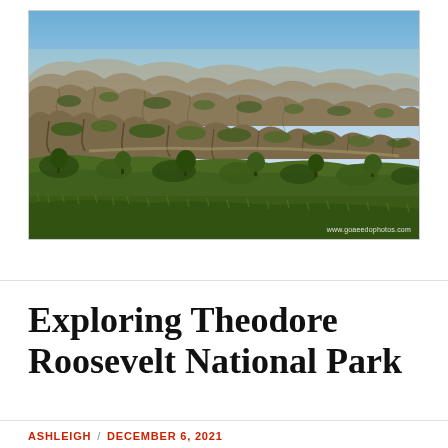[Figure (photo): Aerial view of Theodore Roosevelt National Park badlands landscape — eroded buttes, gullies, and green vegetation under a blue sky. Watermark reads www.goaeedophotos.com]
Exploring Theodore Roosevelt National Park
ASHLEIGH / DECEMBER 6, 2021